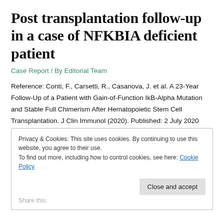Post transplantation follow-up in a case of NFKBIA deficient patient
Case Report / By Editorial Team
Reference: Conti, F., Carsetti, R., Casanova, J. et al. A 23-Year Follow-Up of a Patient with Gain-of-Function IkB-Alpha Mutation and Stable Full Chimerism After Hematopoietic Stem Cell Transplantation. J Clin Immunol (2020). Published: 2 July 2020 Summary: A long term clinical and immunological follow up of patient with NFKBIA mutation with full donor chimerism post HSCT
Privacy & Cookies: This site uses cookies. By continuing to use this website, you agree to their use.
To find out more, including how to control cookies, see here: Cookie Policy
Close and accept
Share this: